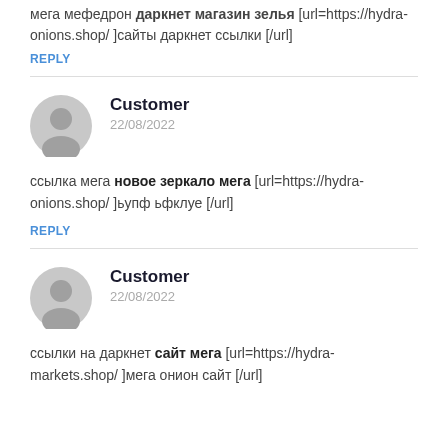мега мефедрон даркнет магазин зелья [url=https://hydra-onions.shop/ ]сайты даркнет ссылки [/url]
REPLY
Customer
22/08/2022
ссылка мега новое зеркало мега [url=https://hydra-onions.shop/ ]ьупф ьфклуе [/url]
REPLY
Customer
22/08/2022
ссылки на даркнет сайт мега [url=https://hydra-markets.shop/ ]мега онион сайт [/url]